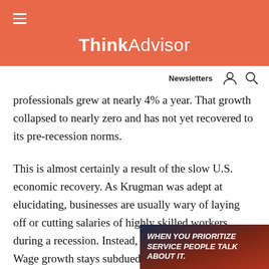ThinkAdvisor
professionals grew at nearly 4% a year. That growth collapsed to nearly zero and has not yet recovered to its pre-recession norms.
This is almost certainly a result of the slow U.S. economic recovery. As Krugman was adept at elucidating, businesses are usually wary of laying off or cutting salaries of highly skilled workers during a recession. Instead, wage growth falls. Wage growth stays subdued until the economy has recovered to full employment, the point where nearly everyone looking for U.S. economy at best has re
[Figure (photo): Advertisement overlay with text: WHEN YOU PRIORITIZE SERVICE PEOPLE TALK ABOUT IT.]